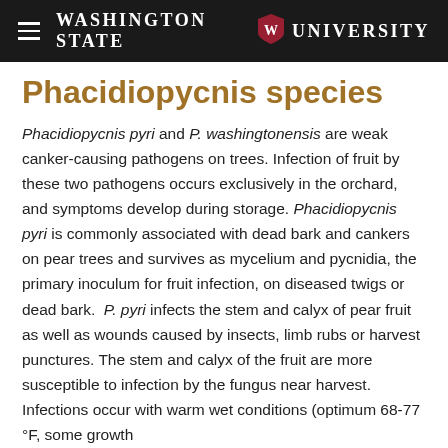Washington State University
Phacidiopycnis species
Phacidiopycnis pyri and P. washingtonensis are weak canker-causing pathogens on trees. Infection of fruit by these two pathogens occurs exclusively in the orchard, and symptoms develop during storage. Phacidiopycnis pyri is commonly associated with dead bark and cankers on pear trees and survives as mycelium and pycnidia, the primary inoculum for fruit infection, on diseased twigs or dead bark.  P. pyri infects the stem and calyx of pear fruit as well as wounds caused by insects, limb rubs or harvest punctures. The stem and calyx of the fruit are more susceptible to infection by the fungus near harvest. Infections occur with warm wet conditions (optimum 68-77 °F, some growth